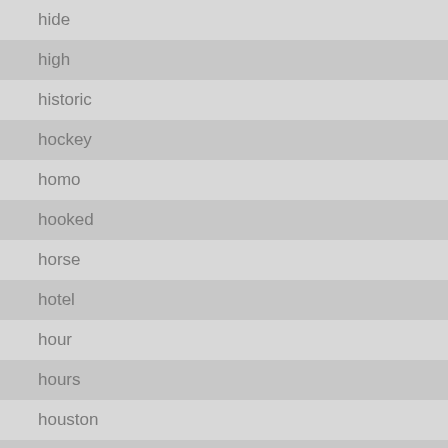hide
high
historic
hockey
homo
hooked
horse
hotel
hour
hours
houston
hudepohl
hudson
huge